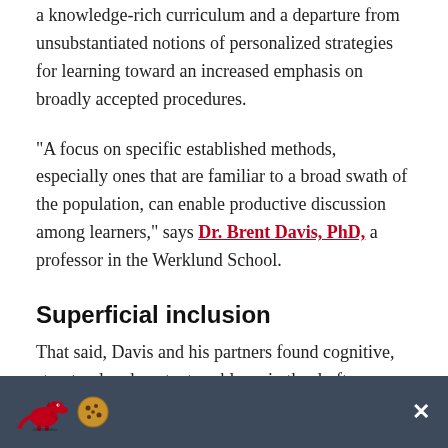a knowledge-rich curriculum and a departure from unsubstantiated notions of personalized strategies for learning toward an increased emphasis on broadly accepted procedures.
“A focus on specific established methods, especially ones that are familiar to a broad swath of the population, can enable productive discussion among learners,” says Dr. Brent Davis, PhD, a professor in the Werklund School.
Superficial inclusion
That said, Davis and his partners found cognitive, structural and content problems in the draft, including the following:
Conceptual understanding underemphasized. There
[Figure (other): Cookie consent banner with dinosaur and cookie emoji icons, and a close (x) button, on a dark blue-grey background.]